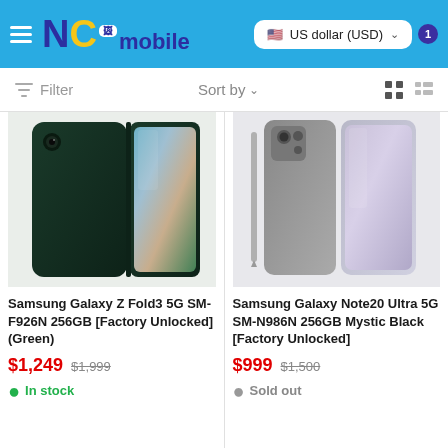NC mobile — US dollar (USD)
Filter   Sort by   [grid view icons]
[Figure (photo): Samsung Galaxy Z Fold3 5G SM-F926N 256GB in green color, showing the folded device from back and side angle]
Samsung Galaxy Z Fold3 5G SM-F926N 256GB [Factory Unlocked] (Green)
$1,249  $1,999
● In stock
[Figure (photo): Samsung Galaxy Note20 Ultra 5G SM-N986N 256GB Mystic Black, showing phone with S-Pen stylus]
Samsung Galaxy Note20 Ultra 5G SM-N986N 256GB Mystic Black [Factory Unlocked]
$999  $1,500
● Sold out